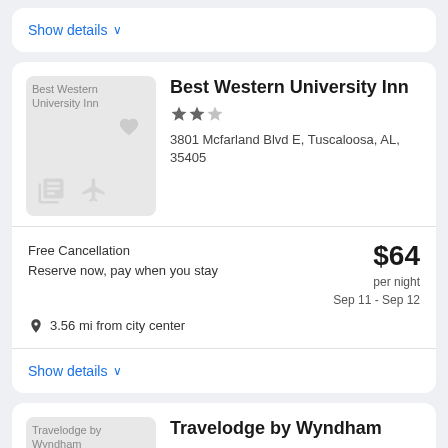Show details
[Figure (photo): Best Western University Inn hotel placeholder image with travel icons]
Best Western University Inn
★★½
3801 Mcfarland Blvd E, Tuscaloosa, AL, 35405
Free Cancellation
Reserve now, pay when you stay
$64 per night
Sep 11 - Sep 12
3.56 mi from city center
Show details
[Figure (photo): Travelodge by Wyndham hotel placeholder image]
Travelodge by Wyndham Tuscaloosa